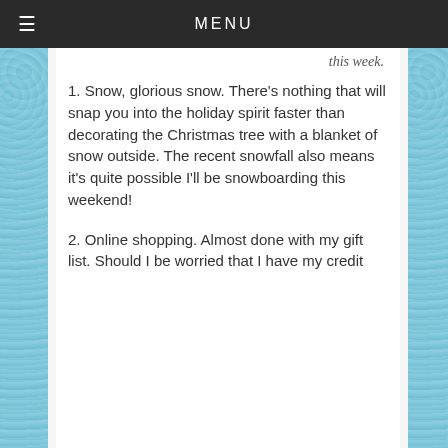MENU
this week.
1. Snow, glorious snow. There's nothing that will snap you into the holiday spirit faster than decorating the Christmas tree with a blanket of snow outside. The recent snowfall also means it's quite possible I'll be snowboarding this weekend!
2. Online shopping. Almost done with my gift list. Should I be worried that I have my credit